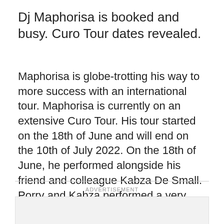Dj Maphorisa is booked and busy. Curo Tour dates revealed.
Maphorisa is globe-trotting his way to more success with an international tour. Maphorisa is currently on an extensive Curo Tour. His tour started on the 18th of June and will end on the 10th of July 2022. On the 18th of June, he performed alongside his friend and colleague Kabza De Small. Porry and Kabza performed a very lengthy set as the Scorpion Kings. They performed for a total of 6 hours.
ADVERTISEMENT